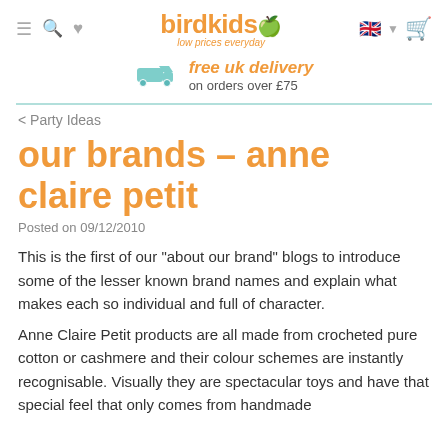birdkids - low prices everyday
free uk delivery on orders over £75
< Party Ideas
our brands - anne claire petit
Posted on 09/12/2010
This is the first of our "about our brand" blogs to introduce some of the lesser known brand names and explain what makes each so individual and full of character.
Anne Claire Petit products are all made from crocheted pure cotton or cashmere and their colour schemes are instantly recognisable. Visually they are spectacular toys and have that special feel that only comes from handmade...